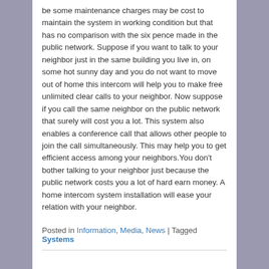be some maintenance charges may be cost to maintain the system in working condition but that has no comparison with the six pence made in the public network. Suppose if you want to talk to your neighbor just in the same building you live in, on some hot sunny day and you do not want to move out of home this intercom will help you to make free unlimited clear calls to your neighbor. Now suppose if you call the same neighbor on the public network that surely will cost you a lot. This system also enables a conference call that allows other people to join the call simultaneously. This may help you to get efficient access among your neighbors.You don't bother talking to your neighbor just because the public network costs you a lot of hard earn money. A home intercom system installation will ease your relation with your neighbor.
Posted in Information, Media, News | Tagged Systems